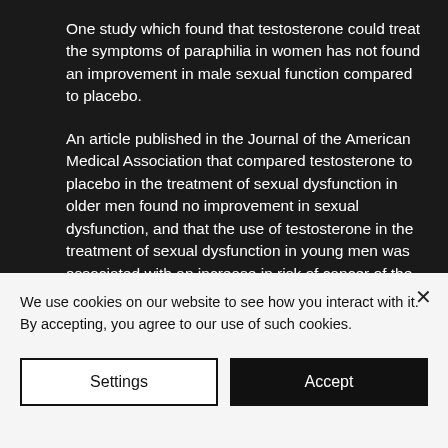One study which found that testosterone could treat the symptoms of paraphilia in women has not found an improvement in male sexual function compared to placebo.
An article published in the Journal of the American Medical Association that compared testosterone to placebo in the treatment of sexual dysfunction in older men found no improvement in sexual dysfunction, and that the use of testosterone in the treatment of sexual dysfunction in young men was associated with an increase in risk of cancer of the testes, and an increase in risk of
We use cookies on our website to see how you interact with it. By accepting, you agree to our use of such cookies.